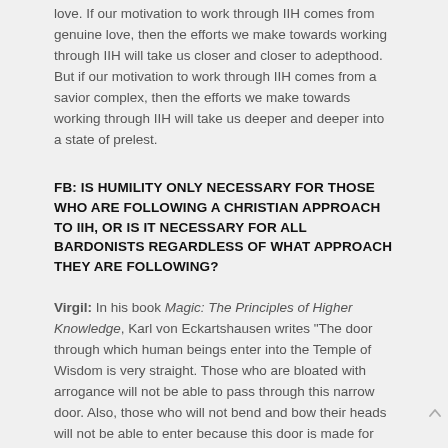love. If our motivation to work through IIH comes from genuine love, then the efforts we make towards working through IIH will take us closer and closer to adepthood. But if our motivation to work through IIH comes from a savior complex, then the efforts we make towards working through IIH will take us deeper and deeper into a state of prelest.
FB: IS HUMILITY ONLY NECESSARY FOR THOSE WHO ARE FOLLOWING A CHRISTIAN APPROACH TO IIH, OR IS IT NECESSARY FOR ALL BARDONISTS REGARDLESS OF WHAT APPROACH THEY ARE FOLLOWING?
Virgil: In his book Magic: The Principles of Higher Knowledge, Karl von Eckartshausen writes "The door through which human beings enter into the Temple of Wisdom is very straight. Those who are bloated with arrogance will not be able to pass through this narrow door. Also, those who will not bend and bow their heads will not be able to enter because this door is made for humbleness and innocence." All Bardonists